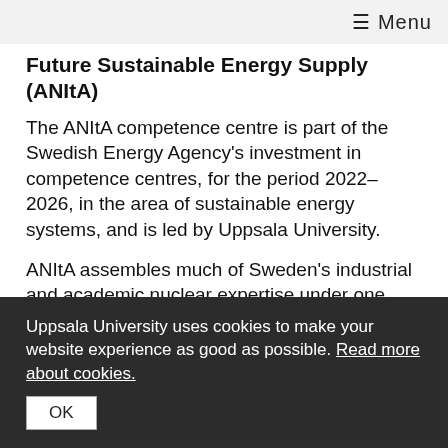≡ Menu
Future Sustainable Energy Supply (ANItA)
The ANItA competence centre is part of the Swedish Energy Agency's investment in competence centres, for the period 2022–2026, in the area of sustainable energy systems, and is led by Uppsala University.
ANItA assembles much of Sweden's industrial and academic nuclear expertise under one umbrella with the purpose to support development of a knowledge-based strategy for introducing small modular reactors in Sweden. The work of the centre is multidisciplinary and covers not only nuclear technology but also licensing and regulatory aspects as well as issues related to the impact of the
Uppsala University uses cookies to make your website experience as good as possible. Read more about cookies.
OK